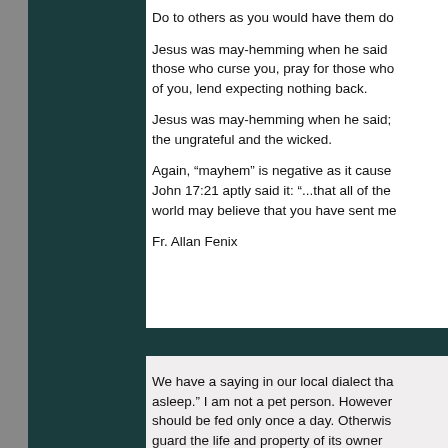Do to others as you would have them do
Jesus was may-hemming when he said those who curse you, pray for those who of you, lend expecting nothing back.
Jesus was may-hemming when he said; the ungrateful and the wicked.
Again, “mayhem” is negative as it cause John 17:21 aptly said it: “...that all of the world may believe that you have sent me
Fr. Allan Fenix
We have a saying in our local dialect tha asleep.” I am not a pet person. However should be fed only once a day. Otherwis guard the life and property of its owner